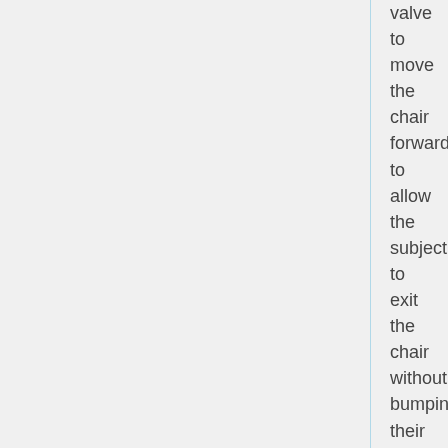valve to move the chair forward to allow the subject to exit the chair without bumping their head on the Dewar